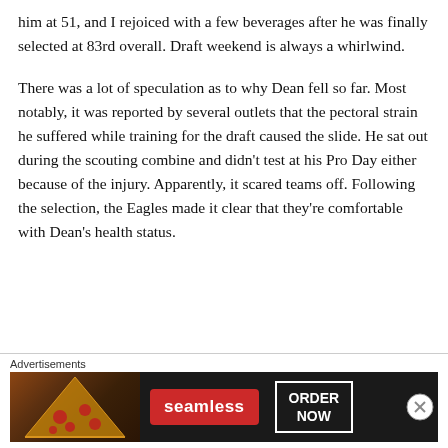him at 51, and I rejoiced with a few beverages after he was finally selected at 83rd overall. Draft weekend is always a whirlwind.
There was a lot of speculation as to why Dean fell so far. Most notably, it was reported by several outlets that the pectoral strain he suffered while training for the draft caused the slide. He sat out during the scouting combine and didn't test at his Pro Day either because of the injury. Apparently, it scared teams off. Following the selection, the Eagles made it clear that they're comfortable with Dean's health status.
[Figure (other): Advertisement banner for Seamless food delivery showing pizza image on left, Seamless logo in red, and ORDER NOW button in white border box on dark background]